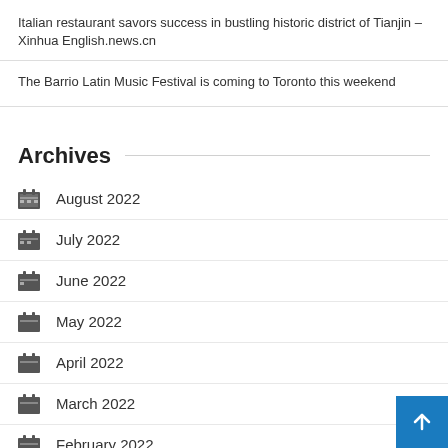Italian restaurant savors success in bustling historic district of Tianjin – Xinhua English.news.cn
The Barrio Latin Music Festival is coming to Toronto this weekend
Archives
August 2022
July 2022
June 2022
May 2022
April 2022
March 2022
February 2022